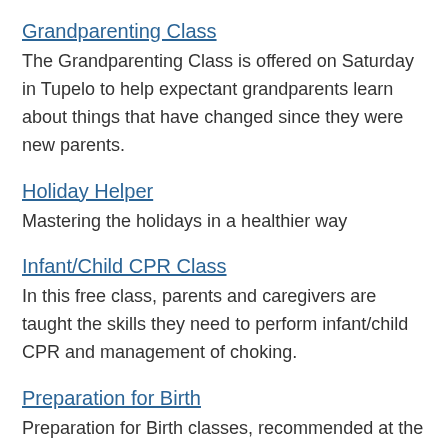Grandparenting Class
The Grandparenting Class is offered on Saturday in Tupelo to help expectant grandparents learn about things that have changed since they were new parents.
Holiday Helper
Mastering the holidays in a healthier way
Infant/Child CPR Class
In this free class, parents and caregivers are taught the skills they need to perform infant/child CPR and management of choking.
Preparation for Birth
Preparation for Birth classes, recommended at the